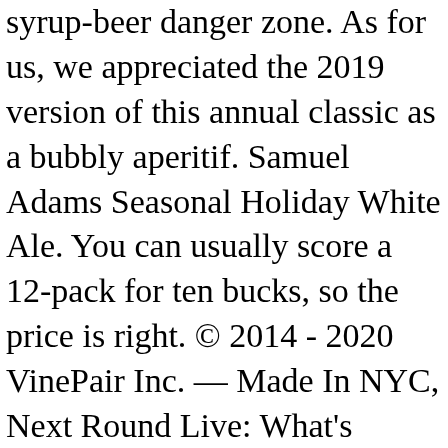syrup-beer danger zone. As for us, we appreciated the 2019 version of this annual classic as a bubbly aperitif. Samuel Adams Seasonal Holiday White Ale. You can usually score a 12-pack for ten bucks, so the price is right. © 2014 - 2020 VinePair Inc. — Made In NYC, Next Round Live: What's Happening in the Drinks Industry Now, Every Beer Lover Needs This Hop Aroma Poster, 50. Insert weed joke here. £14 £1.77 per litre. The result? It became a regular purchase for some panelists over the course of the year. By Zach Mack, and Meredith Heil. 2019 was all about easy